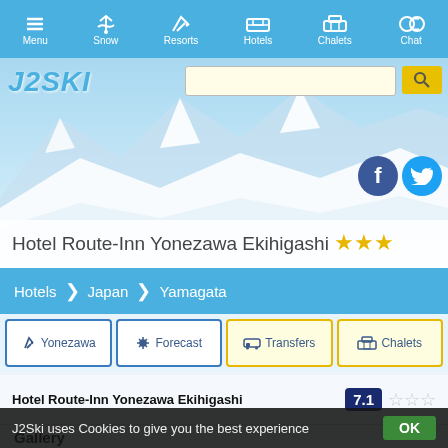Menu | Snow | Resorts | Hotels | Chalets | Chat
[Figure (screenshot): J2Ski website header with mountain snow background, logo, search bar, Facebook and Twitter social icons, and hotel title overlay reading 'Hotel Route-Inn Yonezawa Ekihigashi' with 3 gold stars]
Hotels > Japan > Yamagata
Yonezawa | Forecast | Transfers | Chalets
Hotel Route-Inn Yonezawa Ekihigashi  7.1 ☆☆☆
Gallery
[Figure (photo): Hotel breakfast food photo showing bowl and orange juice]
[Figure (photo): Person holding a mobile phone]
J2Ski uses Cookies to give you the best experience  OK